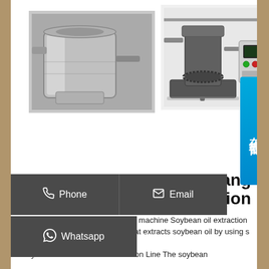[Figure (photo): Close-up photo of industrial oil extraction machine components, metallic silver machinery parts]
[Figure (photo): Industrial hydraulic oil press machine with control panel showing buttons and gauges, electric control box on right side]
[Figure (other): Blue online consultation badge on right side with Chinese characters 在线咨询 (online consultation) and X close button]
Phone
Email
Whatsapp
ang
ction
on machine Soybean oil extraction that extracts soybean oil by using s
Soybean Tissue Protein Production Line The soybean